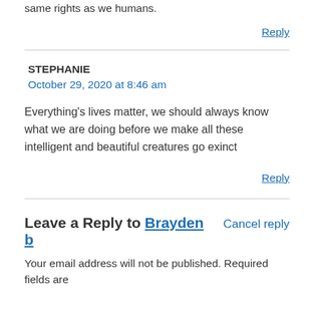same rights as we humans.
Reply
STEPHANIE
October 29, 2020 at 8:46 am
Everything's lives matter, we should always know what we are doing before we make all these intelligent and beautiful creatures go exinct
Reply
Leave a Reply to Brayden b
Cancel reply
Your email address will not be published. Required fields are